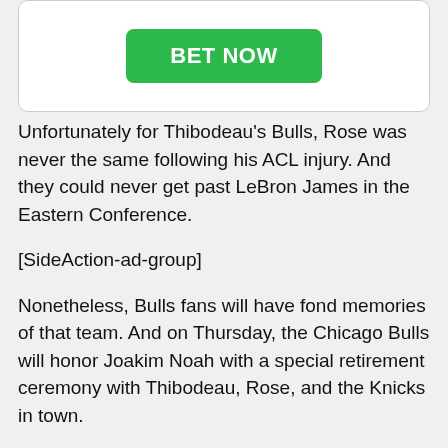[Figure (other): A white rounded box with a green BET NOW button centered inside it]
Unfortunately for Thibodeau's Bulls, Rose was never the same following his ACL injury. And they could never get past LeBron James in the Eastern Conference.
[SideAction-ad-group]
Nonetheless, Bulls fans will have fond memories of that team. And on Thursday, the Chicago Bulls will honor Joakim Noah with a special retirement ceremony with Thibodeau, Rose, and the Knicks in town.
Prior to the event, Tom Thibodeau spoke on his feelings for Joakim Noah.